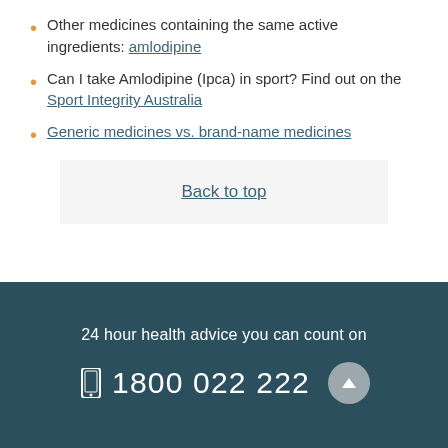Other medicines containing the same active ingredients: amlodipine
Can I take Amlodipine (Ipca) in sport? Find out on the Sport Integrity Australia
Generic medicines vs. brand-name medicines
Back to top
24 hour health advice you can count on
1800 022 222